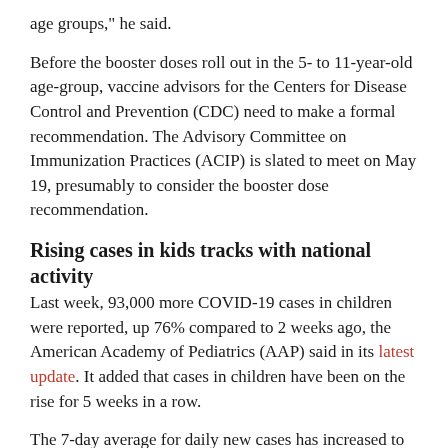age groups," he said.
Before the booster doses roll out in the 5- to 11-year-old age-group, vaccine advisors for the Centers for Disease Control and Prevention (CDC) need to make a formal recommendation. The Advisory Committee on Immunization Practices (ACIP) is slated to meet on May 19, presumably to consider the booster dose recommendation.
Rising cases in kids tracks with national activity
Last week, 93,000 more COVID-19 cases in children were reported, up 76% compared to 2 weeks ago, the American Academy of Pediatrics (AAP) said in its latest update. It added that cases in children have been on the rise for 5 weeks in a row.
The 7-day average for daily new cases has increased to 95,813, according to a New York Times analysis, part of a slow but steady rise that has been under way since the middle of April.
A more transmissible Omicron subvariant—BA.2.12.1—continues to make up a growing proportion of cases. In an